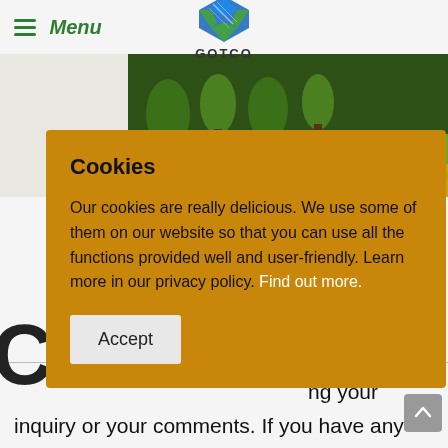≡ Menu | GOTCO
[Figure (logo): GOTCO company logo — blue and green diamond/compass shape with diagonal lines, text 'GOTCO' below]
[Figure (photo): Nature/field background image showing green trees and yellow flowers in a landscape]
Cookies
Our cookies are really delicious. We use some of them on our website so that you can use all the functions provided well and user-friendly. Learn more in our privacy policy. Find out more.
Accept
ng your inquiry or your comments. If you have any